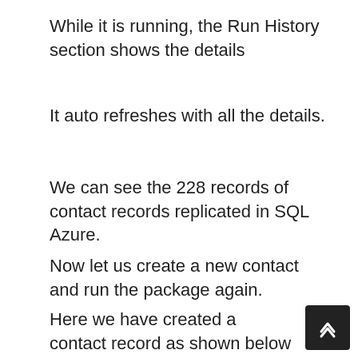While it is running, the Run History section shows the details
It auto refreshes with all the details.
We can see the 228 records of contact records replicated in SQL Azure.
Now let us create a new contact and run the package again.
Here we have created a contact record as shown below in CRM.